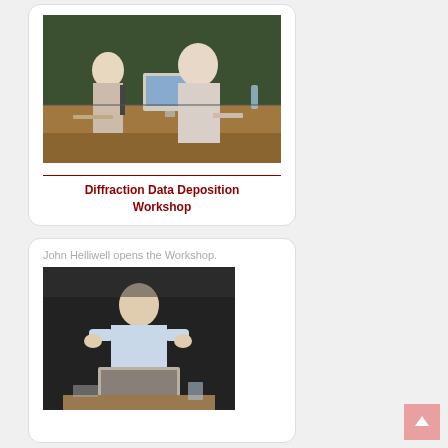[Figure (photo): Two men at a conference table with a computer monitor, in a lecture hall with green chalkboards]
Diffraction Data Deposition Workshop
John Helliwell opens the Workshop.
[Figure (photo): John Helliwell standing at a podium/computer at a workshop, dark background]